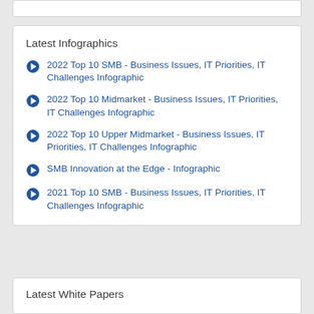Latest Infographics
2022 Top 10 SMB - Business Issues, IT Priorities, IT Challenges Infographic
2022 Top 10 Midmarket - Business Issues, IT Priorities, IT Challenges Infographic
2022 Top 10 Upper Midmarket - Business Issues, IT Priorities, IT Challenges Infographic
SMB Innovation at the Edge - Infographic
2021 Top 10 SMB - Business Issues, IT Priorities, IT Challenges Infographic
Latest White Papers